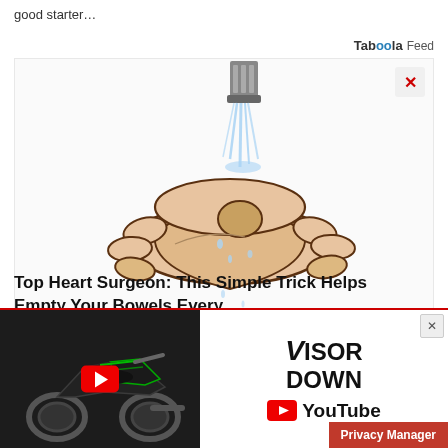good starter…
Taboola Feed
[Figure (illustration): Illustration of two hands washing a small object under running water from a faucet]
Top Heart Surgeon: This Simple Trick Helps Empty Your Bowels Every…
[Figure (screenshot): Banner advertisement for VisorDown YouTube channel featuring a black motorcycle with green accents and YouTube play button overlay. Includes Privacy Manager button.]